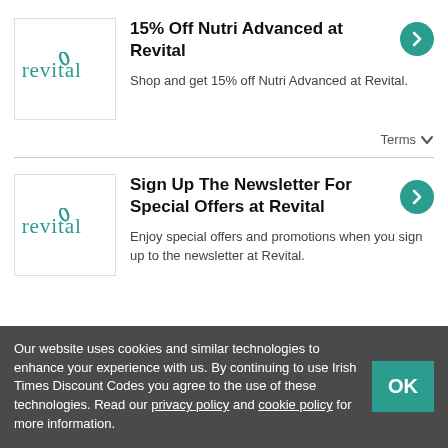[Figure (logo): Revital brand logo in teal/green color]
15% Off Nutri Advanced at Revital
Shop and get 15% off Nutri Advanced at Revital.
Terms
[Figure (logo): Revital brand logo in teal/green color]
Sign Up The Newsletter For Special Offers at Revital
Enjoy special offers and promotions when you sign up to the newsletter at Revital.
Our website uses cookies and similar technologies to enhance your experience with us. By continuing to use Irish Times Discount Codes you agree to the use of these technologies. Read our privacy policy and cookie policy for more information.